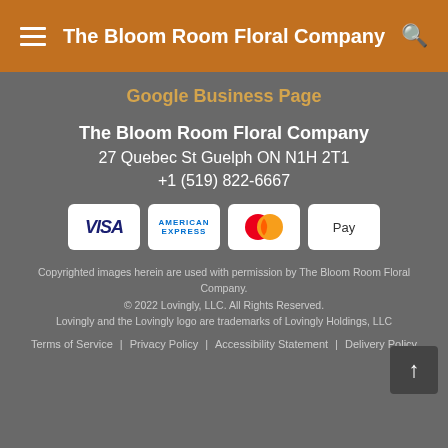The Bloom Room Floral Company
Google Business Page
The Bloom Room Floral Company
27 Quebec St Guelph ON N1H 2T1
+1 (519) 822-6667
[Figure (logo): Payment method logos: VISA, American Express, Mastercard, Apple Pay]
Copyrighted images herein are used with permission by The Bloom Room Floral Company.
© 2022 Lovingly, LLC. All Rights Reserved.
Lovingly and the Lovingly logo are trademarks of Lovingly Holdings, LLC
Terms of Service | Privacy Policy | Accessibility Statement | Delivery Policy